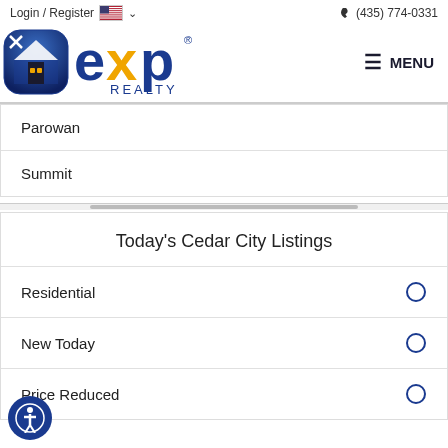Login / Register  (435) 774-0331
[Figure (logo): eXp Realty logo with blue house icon and orange/blue eXp text]
Parowan
Summit
Today's Cedar City Listings
Residential
New Today
Price Reduced